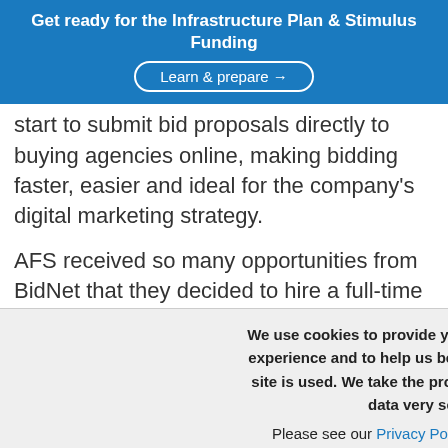Get ready for the Infrastructure Plan & Stimulus Funding
Learn & prepare →
start to submit bid proposals directly to buying agencies online, making bidding faster, easier and ideal for the company's digital marketing strategy.
AFS received so many opportunities from BidNet that they decided to hire a full-time employee to handle government bids – a testament to the revenue
We use cookies to provide you with the best possible experience and to help us better understand how our site is used. We take the protection of your personal data very seriously.
Please see our Privacy Policy for more details. By continuing to use this site, you consent to our use of cookies.